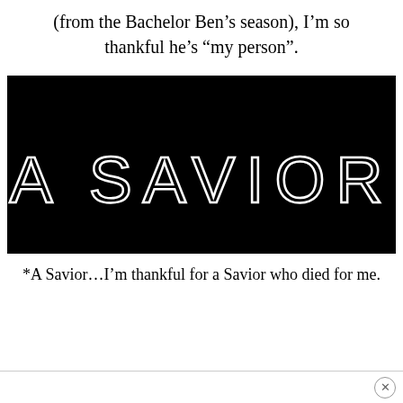(from the Bachelor Ben's season), I'm so thankful he's “my person”.
[Figure (photo): Black background image with white outlined letters reading 'A SAVIOR' in large sans-serif font]
*A Savior…I’m thankful for a Savior who died for me.